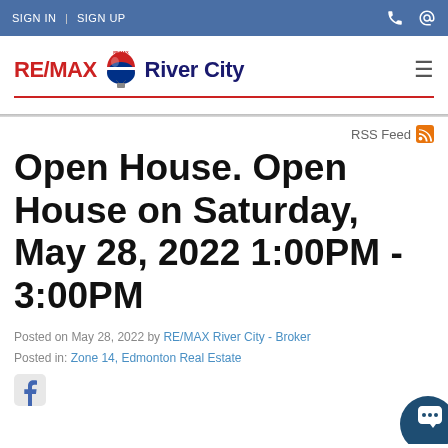SIGN IN | SIGN UP
[Figure (logo): RE/MAX River City logo with hot air balloon]
RSS Feed
Open House. Open House on Saturday, May 28, 2022 1:00PM - 3:00PM
Posted on May 28, 2022 by RE/MAX River City - Broker
Posted in: Zone 14, Edmonton Real Estate
[Figure (logo): Facebook share icon]
[Figure (illustration): Chat bubble / contact icon bottom right]